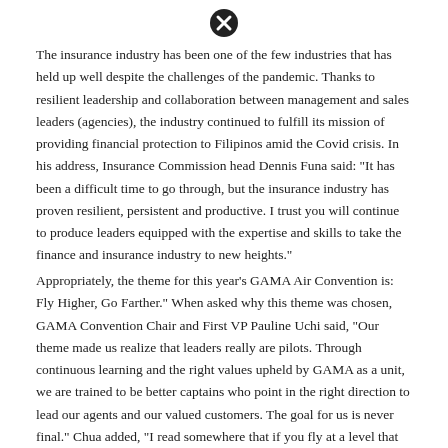[Figure (other): Close/cancel circle icon (X in circle) at top center of page]
The insurance industry has been one of the few industries that has held up well despite the challenges of the pandemic. Thanks to resilient leadership and collaboration between management and sales leaders (agencies), the industry continued to fulfill its mission of providing financial protection to Filipinos amid the Covid crisis. In his address, Insurance Commission head Dennis Funa said: "It has been a difficult time to go through, but the insurance industry has proven resilient, persistent and productive. I trust you will continue to produce leaders equipped with the expertise and skills to take the finance and insurance industry to new heights."
Appropriately, the theme for this year's GAMA Air Convention is: Fly Higher, Go Farther." When asked why this theme was chosen, GAMA Convention Chair and First VP Pauline Uchi said, "Our theme made us realize that leaders really are pilots. Through continuous learning and the right values upheld by GAMA as a unit, we are trained to be better captains who point in the right direction to lead our agents and our valued customers. The goal for us is never final." Chua added, "I read somewhere that if you fly at a level that has a big gap between where you w
[Figure (other): Close/cancel circle icon (X in circle) inline within text at bottom of page]